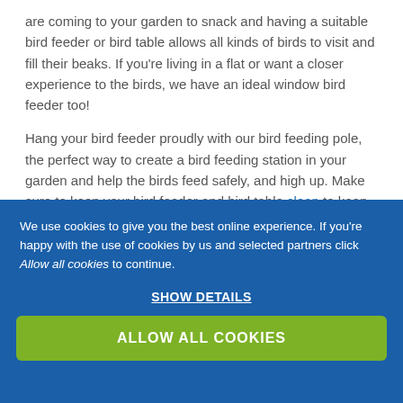are coming to your garden to snack and having a suitable bird feeder or bird table allows all kinds of birds to visit and fill their beaks. If you're living in a flat or want a closer experience to the birds, we have an ideal window bird feeder too!

Hang your bird feeder proudly with our bird feeding pole, the perfect way to create a bird feeding station in your garden and help the birds feed safely, and high up. Make sure to keep your bird feeder and bird table clean to keep
We use cookies to give you the best online experience. If you're happy with the use of cookies by us and selected partners click Allow all cookies to continue.
SHOW DETAILS
ALLOW ALL COOKIES